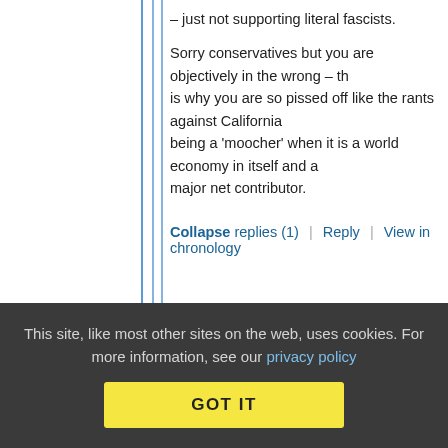– just not supporting literal fascists.
Sorry conservatives but you are objectively in the wrong – that is why you are so pissed off like the rants against California being a 'moocher' when it is a world economy in itself and a major net contributor.
Collapse replies (1)  |  Reply  |  View in chronology
[Figure (screenshot): Row of comment action icons: lightbulb, laughing emoji, open-quote bubble, close-quote bubble, flag]
[Figure (screenshot): Nested comment box showing thread icon [7] and user 'A normal human being' dated June 7, 2019 at 1:00]
This site, like most other sites on the web, uses cookies. For more information, see our privacy policy
GOT IT